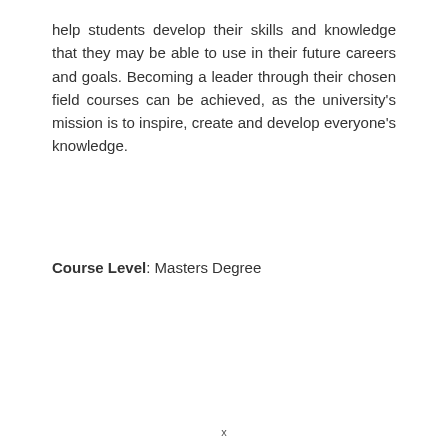help students develop their skills and knowledge that they may be able to use in their future careers and goals. Becoming a leader through their chosen field courses can be achieved, as the university's mission is to inspire, create and develop everyone's knowledge.
Course Level: Masters Degree
x